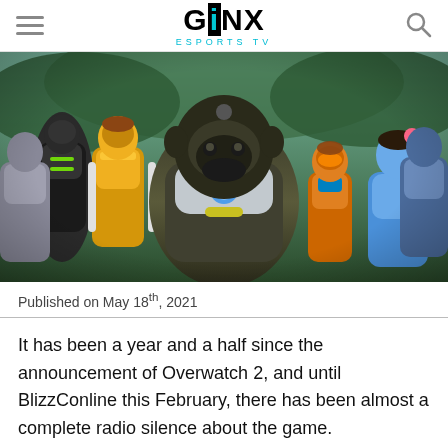GINX ESPORTS TV
[Figure (photo): Group of Overwatch 2 game characters including a large gorilla character in the center wearing armor, flanked by other armored and costumed heroes, in a stylized animated scene.]
Published on May 18th, 2021
It has been a year and a half since the announcement of Overwatch 2, and until BlizzConline this February, there has been almost a complete radio silence about the game.